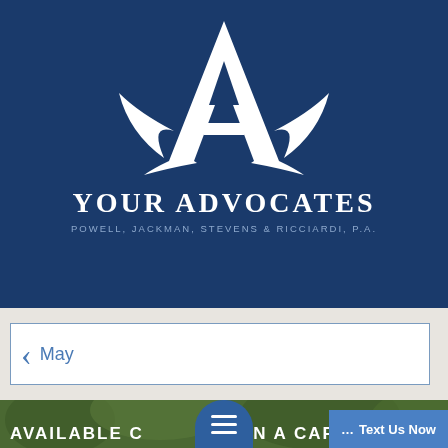[Figure (logo): Your Advocates law firm logo — large white stylized letter A with swoosh/wing elements on a dark navy blue background, above the firm name]
YOUR ADVOCATES
POWELL, JACKMAN, STEVENS & RICCIARDI, P.A.
FREE CONSULTATION | HABLAMOS ESPAÑOL
239-970-6844
May
[Figure (photo): Outdoor photo showing trees/greenery with white bold text overlay reading AVAILABLE C... AGE IN A CAR (partially visible), a dark blue hamburger menu button overlaid center, and a blue Text Us Now button bottom right]